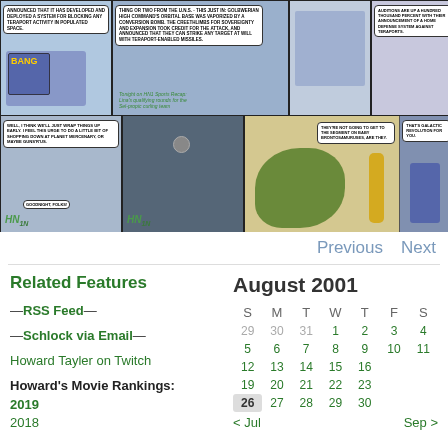[Figure (illustration): Schlock Mercenary comic strip, two rows of panels. Top row shows a news anchor announcing teraport blocking system, Golbwerian HQ explosion from conversion bomb, news desk scene, and stock market ticker. Bottom row shows characters wrapping up broadcast, camera drone shot, a large alien creature on a couch, and two characters commenting about baby brontosamuses.]
Previous   Next
Related Features
—RSS Feed—
—Schlock via Email—
Howard Tayler on Twitch
Howard's Movie Rankings:
2019
2018
August 2001
| S | M | T | W | T | F | S |
| --- | --- | --- | --- | --- | --- | --- |
| 29 | 30 | 31 | 1 | 2 | 3 | 4 |
| 5 | 6 | 7 | 8 | 9 | 10 | 11 |
| 12 | 13 | 14 | 15 | 16 |  |  |
| 19 | 20 | 21 | 22 | 23 |  |  |
| 26 | 27 | 28 | 29 | 30 |  |  |
| < Jul |  |  |  |  |  | Sep > |
< Jul   Sep >